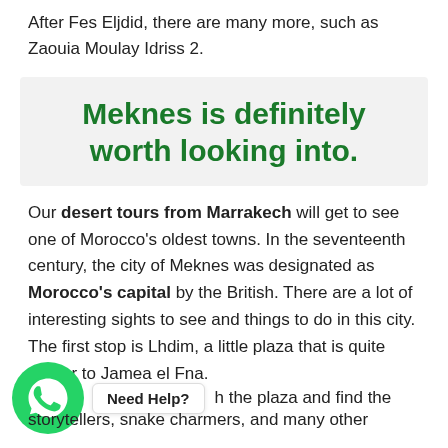After Fes Eljdid, there are many more, such as Zaouia Moulay Idriss 2.
Meknes is definitely worth looking into.
Our desert tours from Marrakech will get to see one of Morocco's oldest towns. In the seventeenth century, the city of Meknes was designated as Morocco's capital by the British. There are a lot of interesting sights to see and things to do in this city. The first stop is Lhdim, a little plaza that is quite similar to Jamea el Fna.
[Figure (other): WhatsApp contact button icon (green circle with phone handset logo) with 'Need Help?' chat bubble]
stroll through the plaza and find the storytellers, snake charmers, and many other